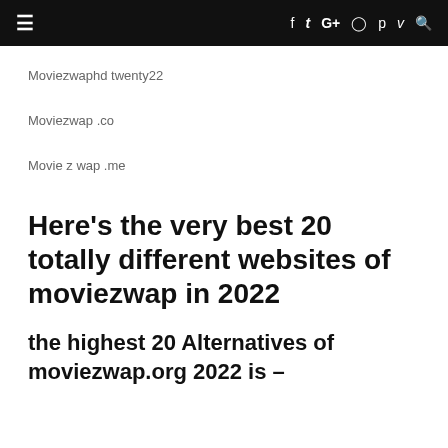≡  f  𝕥  G+  ⊙  𝒫  𝓋  🔍
Moviezwaphd twenty22
Moviezwap .co
Movie z wap .me
Here's the very best 20 totally different websites of moviezwap in 2022
the highest 20 Alternatives of moviezwap.org 2022 is –